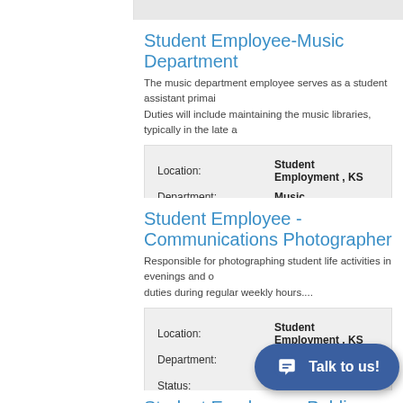Student Employee-Music Department
The music department employee serves as a student assistant primarily. Duties will include maintaining the music libraries, typically in the late a
| Field | Value |
| --- | --- |
| Location: | Student Employment , KS |
| Department: | Music |
Student Employee - Communications Photographer
Responsible for photographing student life activities in evenings and on duties during regular weekly hours....
| Field | Value |
| --- | --- |
| Location: | Student Employment , KS |
| Department: | Public Relations |
| Status: | Accepting Applications |
[Figure (other): Blue chat button with speech bubble icon and text 'Talk to us!']
Student Employee - Public Relations Videographer